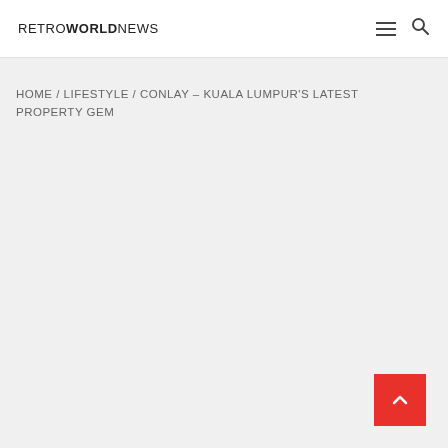RETROWORLDNEWS
HOME / LIFESTYLE / CONLAY – KUALA LUMPUR'S LATEST PROPERTY GEM